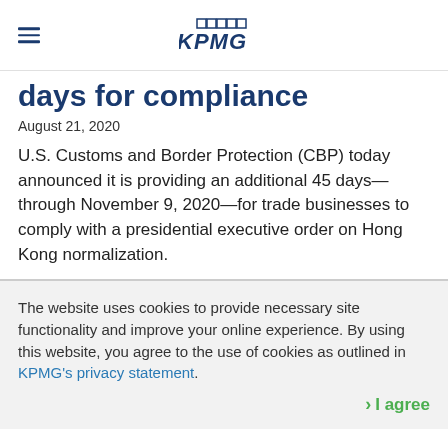KPMG
days for compliance
August 21, 2020
U.S. Customs and Border Protection (CBP) today announced it is providing an additional 45 days—through November 9, 2020—for trade businesses to comply with a presidential executive order on Hong Kong normalization.
The website uses cookies to provide necessary site functionality and improve your online experience. By using this website, you agree to the use of cookies as outlined in KPMG's privacy statement.
I agree